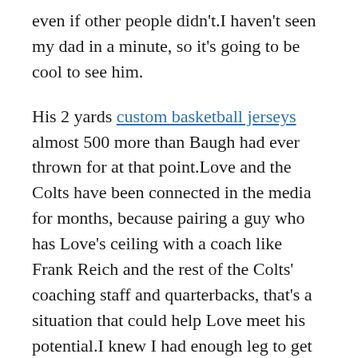even if other people didn't.I haven't seen my dad in a minute, so it's going to be cool to see him.
His 2 yards custom basketball jerseys almost 500 more than Baugh had ever thrown for at that point.Love and the Colts have been connected in the media for months, because pairing a guy who has Love's ceiling with a coach like Frank Reich and the rest of the Colts' coaching staff and quarterbacks, that's a situation that could help Love meet his potential.I knew I had enough leg to get it there.
A lot has happened during the week that this